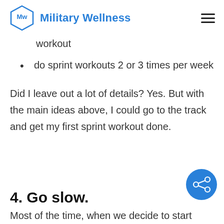Military Wellness
workout
do sprint workouts 2 or 3 times per week
Did I leave out a lot of details? Yes. But with the main ideas above, I could go to the track and get my first sprint workout done.
4. Go slow.
Most of the time, when we decide to start